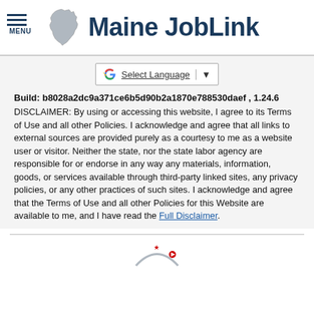Maine JobLink
[Figure (other): Google Translate Select Language widget with G logo and dropdown arrow]
Build: b8028a2dc9a371ce6b5d90b2a1870e788530daef , 1.24.6
DISCLAIMER: By using or accessing this website, I agree to its Terms of Use and all other Policies. I acknowledge and agree that all links to external sources are provided purely as a courtesy to me as a website user or visitor. Neither the state, nor the state labor agency are responsible for or endorse in any way any materials, information, goods, or services available through third-party linked sites, any privacy policies, or any other practices of such sites. I acknowledge and agree that the Terms of Use and all other Policies for this Website are available to me, and I have read the Full Disclaimer.
[Figure (logo): Partial logo visible at bottom center of page]